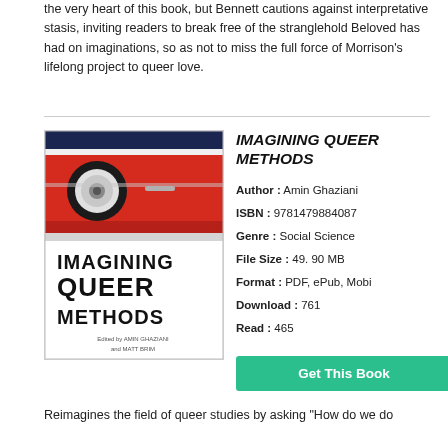the very heart of this book, but Bennett cautions against interpretative stasis, inviting readers to break free of the stranglehold Beloved has had on imaginations, so as not to miss the full force of Morrison's lifelong project to queer love.
[Figure (illustration): Book cover of 'Imagining Queer Methods' edited by Amin Ghaziani and Matt Brim, showing a red car detail on the top half and bold black text on white for title on the bottom half.]
IMAGINING QUEER METHODS
Author : Amin Ghaziani
ISBN : 9781479884087
Genre : Social Science
File Size : 49. 90 MB
Format : PDF, ePub, Mobi
Download : 761
Read : 465
Get This Book
Reimagines the field of queer studies by asking "How do we do